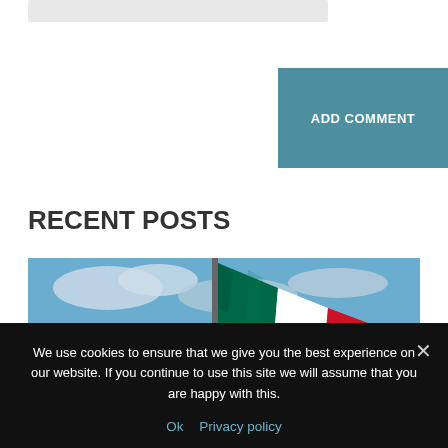[Figure (other): Gray input/search bar at top of page]
ADD COMMENT
RECENT POSTS
[Figure (photo): Photo of a Mexican flag waving against a blue sky with a coastal city skyline in the background]
We use cookies to ensure that we give you the best experience on our website. If you continue to use this site we will assume that you are happy with this.
Ok   Privacy policy